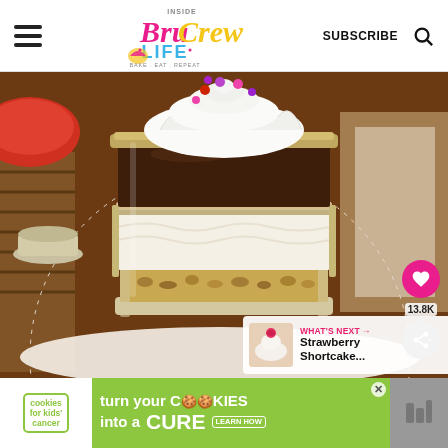Inside BruCrew Life — SUBSCRIBE
[Figure (photo): A glass mason jar filled with layered chocolate pudding dessert: bottom layer of chopped walnuts/pecans, middle layer of white cream/cheesecake filling, top layer of dark chocolate pudding, finished with swirled whipped cream decorated with colorful candy pieces (red, pink, purple). Background shows a doily, additional jars, and a red bowl.]
WHAT'S NEXT → Strawberry Shortcake...
13.8K
[Figure (infographic): Advertisement banner: cookies for kids' cancer — turn your COOKIES into a CURE LEARN HOW]